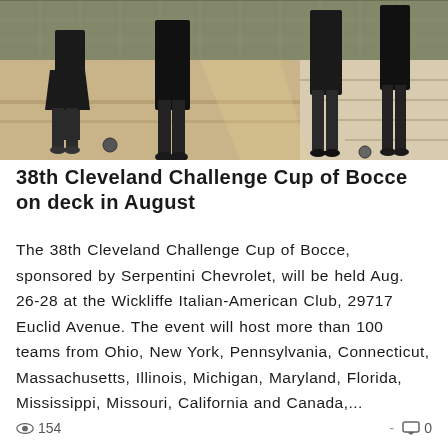[Figure (photo): Bocce ball court with players standing and walking on wooden lanes, viewed from a low angle. People are wearing dark clothing and the setting appears to be an indoor/outdoor bocce facility with metal fencing in the background.]
38th Cleveland Challenge Cup of Bocce on deck in August
The 38th Cleveland Challenge Cup of Bocce, sponsored by Serpentini Chevrolet, will be held Aug. 26-28 at the Wickliffe Italian-American Club, 29717 Euclid Avenue. The event will host more than 100 teams from Ohio, New York, Pennsylvania, Connecticut, Massachusetts, Illinois, Michigan, Maryland, Florida, Mississippi, Missouri, California and Canada,...
154  -  0